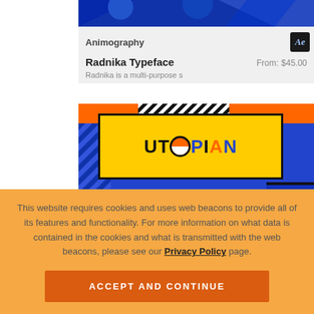[Figure (screenshot): Partial product card showing blue graphic image at top, Animography brand with After Effects badge, Radnika Typeface product title, From: $45.00 price, and partial description 'Radnika is a multi-purpose s...']
Animography
Radnika Typeface
From: $45.00
Radnika is a multi-purpose s
[Figure (screenshot): Product card for Utopian typeface with colorful graphic showing 'UTOPIAN' text on yellow background with blue and orange geometric design. Animography brand with After Effects badge below.]
Animography
This website requires cookies and uses web beacons to provide all of its features and functionality. For more information on what data is contained in the cookies and what is transmitted with the web beacons, please see our Privacy Policy page.
ACCEPT AND CONTINUE